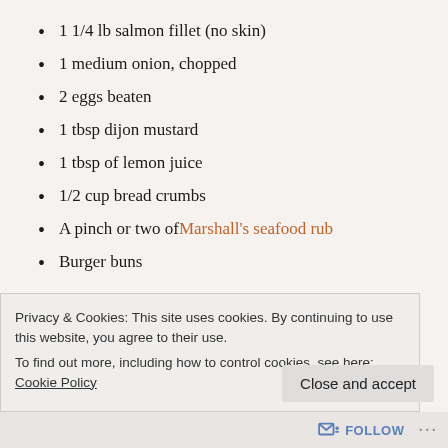1 1/4 lb salmon fillet (no skin)
1 medium onion, chopped
2 eggs beaten
1 tbsp dijon mustard
1 tbsp of lemon juice
1/2 cup bread crumbs
A pinch or two of Marshall's seafood rub
Burger buns
In a food processor, puree the salmon until smooth.
Add in the onion, eggs, mustard, lemon juice, bread
Privacy & Cookies: This site uses cookies. By continuing to use this website, you agree to their use. To find out more, including how to control cookies, see here: Cookie Policy
Close and accept
FOLLOW ...